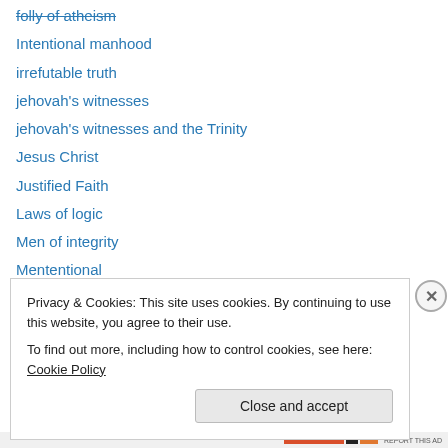folly of atheism
Intentional manhood
irrefutable truth
jehovah's witnesses
jehovah's witnesses and the Trinity
Jesus Christ
Justified Faith
Laws of logic
Men of integrity
Mententional
Michael the archangel
Moral absolutes
Natural Revelation
New World Translation
Privacy & Cookies: This site uses cookies. By continuing to use this website, you agree to their use. To find out more, including how to control cookies, see here: Cookie Policy
Close and accept